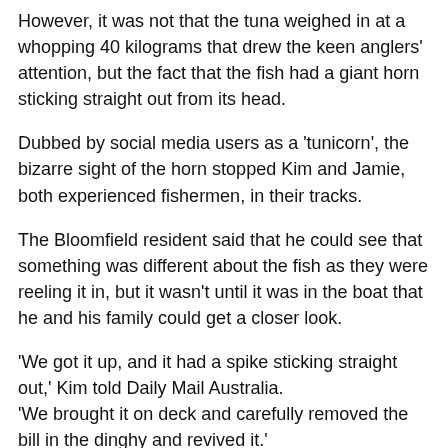However, it was not that the tuna weighed in at a whopping 40 kilograms that drew the keen anglers' attention, but the fact that the fish had a giant horn sticking straight out from its head.
Dubbed by social media users as a 'tunicorn', the bizarre sight of the horn stopped Kim and Jamie, both experienced fishermen, in their tracks.
The Bloomfield resident said that he could see that something was different about the fish as they were reeling it in, but it wasn't until it was in the boat that he and his family could get a closer look.
'We got it up, and it had a spike sticking straight out,' Kim told Daily Mail Australia.
'We brought it on deck and carefully removed the bill in the dinghy and revived it.'
Kim said that he was almost certain it was the elongated bill from a sailfish, similar to a swordfish or marlin, which had